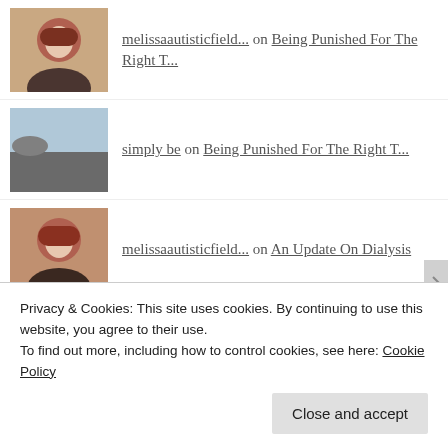melissaautisticfield... on Being Punished For The Right T...
simply be on Being Punished For The Right T...
melissaautisticfield... on An Update On Dialysis
Megan McLaughlin on An Update On Dialysis
Autism Candles on Why I Do Not Support Autism Sp...
Privacy & Cookies: This site uses cookies. By continuing to use this website, you agree to their use.
To find out more, including how to control cookies, see here: Cookie Policy
Close and accept